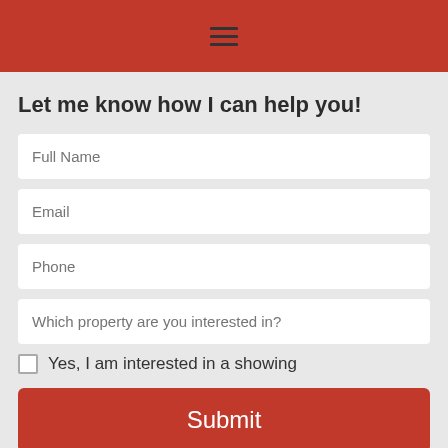≡
Let me know how I can help you!
Full Name
Email
Phone
Which property are you interested in?
Yes, I am interested in a showing
Submit